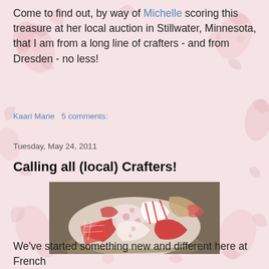Come to find out, by way of Michelle scoring this treasure at her local auction in Stillwater, Minnesota, that I am from a long line of crafters - and from Dresden - no less!
Kaari Marie    5 comments:
Tuesday, May 24, 2011
Calling all (local) Crafters!
[Figure (photo): A wicker basket overflowing with colorful fabric scraps in red, pink, white, and plaid patterns — quilting or crafting remnants]
We've started something new and different here at French